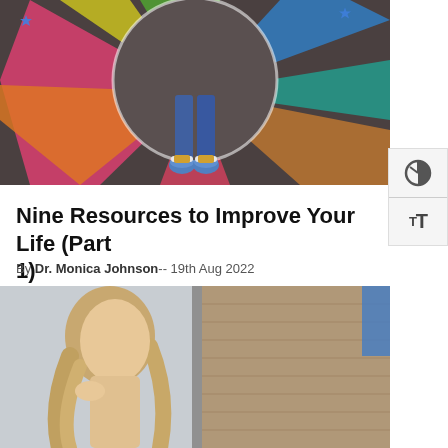[Figure (photo): Aerial view of person standing in center of colorful chalk art circle on pavement, wearing blue sneakers and jeans, rainbow chalk rays spreading outward]
Nine Resources to Improve Your Life (Part 1)
By Dr. Monica Johnson-- 19th Aug 2022
[Figure (photo): Woman with blonde hair looking out through a window, brick/wood wall visible in background]